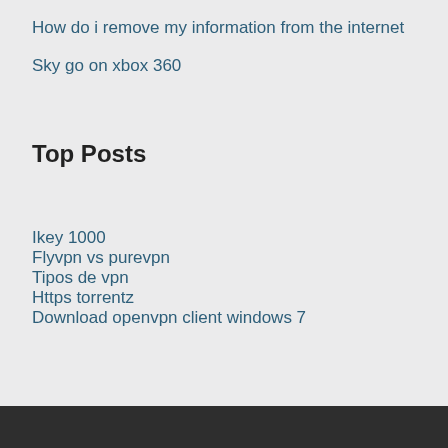How do i remove my information from the internet
Sky go on xbox 360
Top Posts
Ikey 1000
Flyvpn vs purevpn
Tipos de vpn
Https torrentz
Download openvpn client windows 7